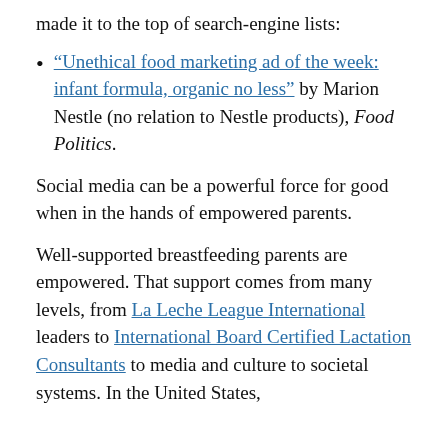made it to the top of search-engine lists:
“Unethical food marketing ad of the week: infant formula, organic no less” by Marion Nestle (no relation to Nestle products), Food Politics.
Social media can be a powerful force for good when in the hands of empowered parents.
Well-supported breastfeeding parents are empowered. That support comes from many levels, from La Leche League International leaders to International Board Certified Lactation Consultants to media and culture to societal systems. In the United States,